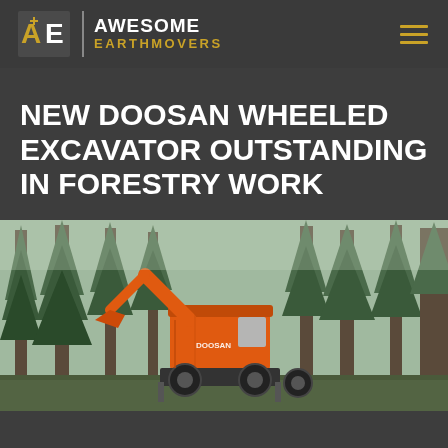[Figure (logo): Awesome Earthmovers logo with AE icon in golden/white and company name]
NEW DOOSAN WHEELED EXCAVATOR OUTSTANDING IN FORESTRY WORK
[Figure (photo): Orange Doosan wheeled excavator working in a dense conifer forest setting, photographed from low angle showing the machine against tall green trees]